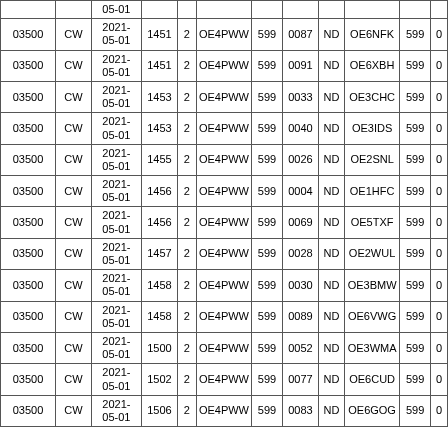|  |  | 05-01 |  |  |  |  |  |  |  |  |  |
| --- | --- | --- | --- | --- | --- | --- | --- | --- | --- | --- | --- |
| 03500 | CW | 2021-05-01 | 1451 | 2 | OE4PWW | 599 | 0087 | ND | OE6NFK | 599 | 0 |
| 03500 | CW | 2021-05-01 | 1451 | 2 | OE4PWW | 599 | 0091 | ND | OE6XBH | 599 | 0 |
| 03500 | CW | 2021-05-01 | 1453 | 2 | OE4PWW | 599 | 0033 | ND | OE3CHC | 599 | 0 |
| 03500 | CW | 2021-05-01 | 1453 | 2 | OE4PWW | 599 | 0040 | ND | OE3IDS | 599 | 0 |
| 03500 | CW | 2021-05-01 | 1455 | 2 | OE4PWW | 599 | 0026 | ND | OE2SNL | 599 | 0 |
| 03500 | CW | 2021-05-01 | 1456 | 2 | OE4PWW | 599 | 0004 | ND | OE1HFC | 599 | 0 |
| 03500 | CW | 2021-05-01 | 1456 | 2 | OE4PWW | 599 | 0069 | ND | OE5TXF | 599 | 0 |
| 03500 | CW | 2021-05-01 | 1457 | 2 | OE4PWW | 599 | 0028 | ND | OE2WUL | 599 | 0 |
| 03500 | CW | 2021-05-01 | 1458 | 2 | OE4PWW | 599 | 0030 | ND | OE3BMW | 599 | 0 |
| 03500 | CW | 2021-05-01 | 1458 | 2 | OE4PWW | 599 | 0089 | ND | OE6VWG | 599 | 0 |
| 03500 | CW | 2021-05-01 | 1500 | 2 | OE4PWW | 599 | 0052 | ND | OE3WMA | 599 | 0 |
| 03500 | CW | 2021-05-01 | 1502 | 2 | OE4PWW | 599 | 0077 | ND | OE6CUD | 599 | 0 |
| 03500 | CW | 2021-05-01 | 1506 | 2 | OE4PWW | 599 | 0083 | ND | OE6GOG | 599 | 0 |